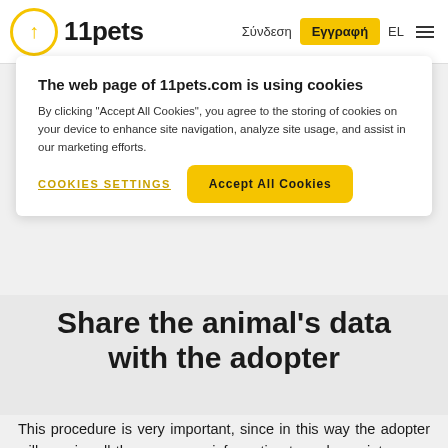11pets — Σύνδεση | Εγγραφή | EL
The web page of 11pets.com is using cookies
By clicking "Accept All Cookies", you agree to the storing of cookies on your device to enhance site navigation, analyze site usage, and assist in our marketing efforts.
Cookies Settings | Accept All Cookies
Share the animal's data with the adopter
This procedure is very important, since in this way the adopter will acquire all the necessary information to make maintenance easy. With this functionality the adopter will know when the last deworming has occurred and when they will have to be done in the